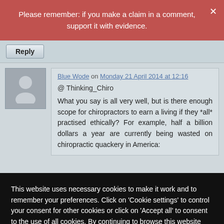Please remember: if you make a claim in a comment, support it with evidence.
Blue Wode on Monday 21 April 2014 at 12:16
@ Thinking_Chiro
What you say is all very well, but is there enough scope for chiropractors to earn a living if they *all* practised ethically? For example, half a billion dollars a year are currently being wasted on chiropractic quackery in America:
This website uses necessary cookies to make it work and to remember your preferences. Click on 'Cookie settings' to control your consent for other cookies or click on 'Accept all' to consent to the use of all cookies. By continuing to browse this website you are agreeing to our Privacy policy.